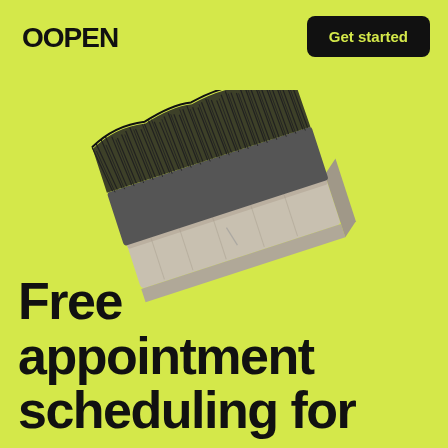OOPEN
Get started
[Figure (photo): A rectangular shoe/clothes brush with dense black bristles on top and a light gray/white wooden base, photographed at an angle on a yellow-green background.]
Free appointment scheduling for